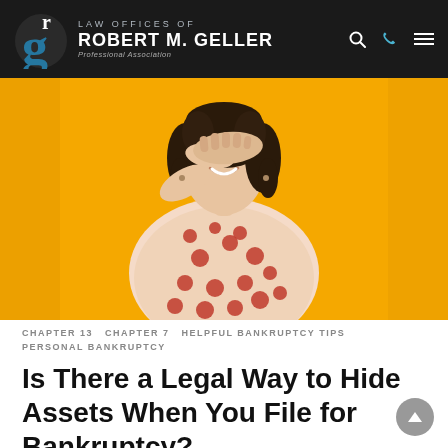LAW OFFICES OF ROBERT M. GELLER Professional Association
[Figure (photo): Woman in red polka-dot dress covering her eyes with her hand, standing against a bright yellow/golden background, smiling.]
CHAPTER 13   CHAPTER 7   HELPFUL BANKRUPTCY TIPS   PERSONAL BANKRUPTCY
Is There a Legal Way to Hide Assets When You File for Bankruptcy?